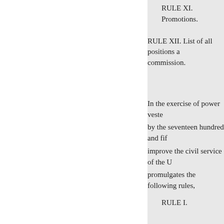RULE XI. Promotions.
RULE XII. List of all positions a commission.
In the exercise of power vested by the seventeen hundred and fif improve the civil service of the U promulgates the following rules,
RULE I.
1. The United States Civil Ser prescribe regulahave authority to
Definitions of and for the exec
2. The several terms hereinaft commission, shall be construed a
(a) The term “civil-service act States,” approved January 16, 18